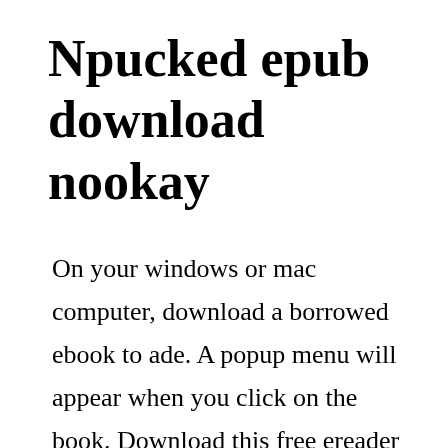Npucked epub download nookay
On your windows or mac computer, download a borrowed ebook to ade. A popup menu will appear when you click on the book. Download this free ereader to experience your books in the most optimum format across pc, mac, tablets or mobile devices. When you purchase your nook ebook reader, it comes